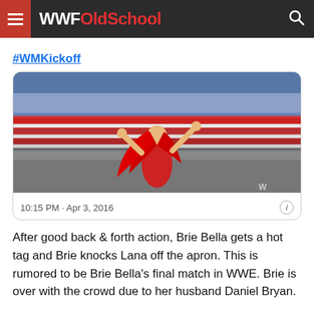WWFOldSchool
#WMKickoff
[Figure (photo): WWE wrestler with long red hair in a red outfit performing in a large stadium, arms raised, crowd visible in the background. Timestamp: 10:15 PM · Apr 3, 2016]
10:15 PM · Apr 3, 2016
After good back & forth action, Brie Bella gets a hot tag and Brie knocks Lana off the apron. This is rumored to be Brie Bella's final match in WWE. Brie is over with the crowd due to her husband Daniel Bryan.